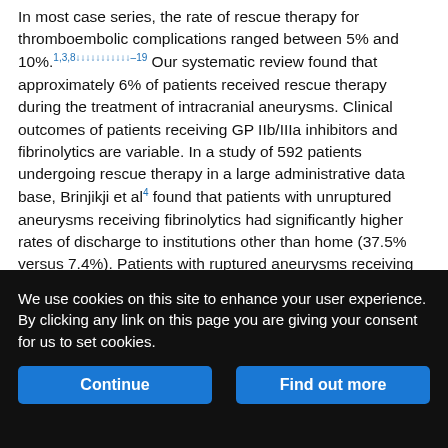In most case series, the rate of rescue therapy for thromboembolic complications ranged between 5% and 10%.1,3,8↓↓↓↓↓↓↓↓↓↓↓–19 Our systematic review found that approximately 6% of patients received rescue therapy during the treatment of intracranial aneurysms. Clinical outcomes of patients receiving GP IIb/IIIa inhibitors and fibrinolytics are variable. In a study of 592 patients undergoing rescue therapy in a large administrative data base, Brinjikji et al4 found that patients with unruptured aneurysms receiving fibrinolytics had significantly higher rates of discharge to institutions other than home (37.5% versus 7.4%). Patients with ruptured aneurysms receiving fibrinolytics had significantly higher rates of in-hospital mortality (26.0% versus 14.5%) and discharge to institutions other than home (59.4% versus 36.5%). Our study found
We use cookies on this site to enhance your user experience. By clicking any link on this page you are giving your consent for us to set cookies.